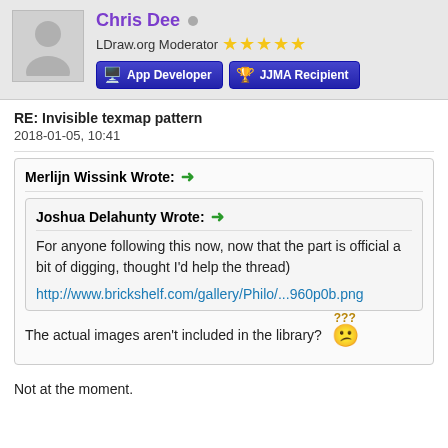[Figure (illustration): User profile header showing avatar, username Chris Dee, moderator status with stars, and badges for App Developer and JJMA Recipient]
RE: Invisible texmap pattern
2018-01-05, 10:41
Merlijn Wissink Wrote: →
Joshua Delahunty Wrote: →
For anyone following this now, now that the part is official a bit of digging, thought I'd help the thread)
http://www.brickshelf.com/gallery/Philo/...960p0b.png
The actual images aren't included in the library? 😕
Not at the moment.